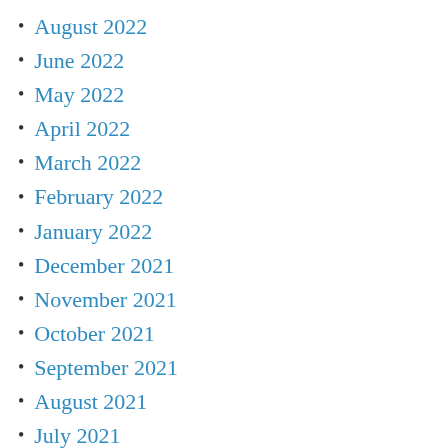August 2022
June 2022
May 2022
April 2022
March 2022
February 2022
January 2022
December 2021
November 2021
October 2021
September 2021
August 2021
July 2021
June 2021
May 2021
April 2021